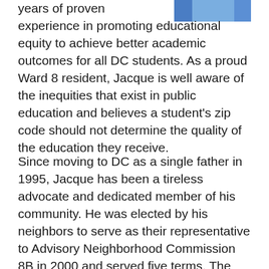[Figure (photo): Partial photo of a person in blue clothing, cropped at top right]
years of proven experience in promoting educational equity to achieve better academic outcomes for all DC students. As a proud Ward 8 resident, Jacque is well aware of the inequities that exist in public education and believes a student's zip code should not determine the quality of the education they receive.
Since moving to DC as a single father in 1995, Jacque has been a tireless advocate and dedicated member of his community. He was elected by his neighbors to serve as their representative to Advisory Neighborhood Commission 8B in 2000 and served five terms. The following year, he was selected by former DC Mayor Anthony A. Williams as a Capital City